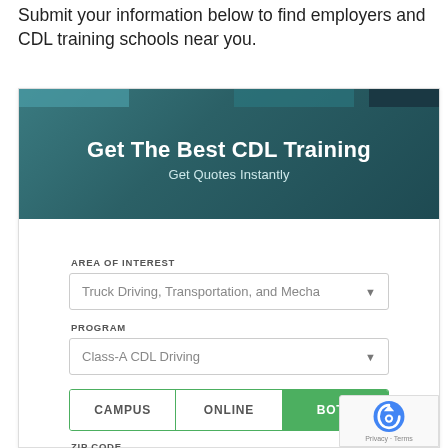Submit your information below to find employers and CDL training schools near you.
[Figure (screenshot): CDL Training widget form with header 'Get The Best CDL Training - Get Quotes Instantly', dropdown fields for Area of Interest (Truck Driving, Transportation, and Mechanics) and Program (Class-A CDL Driving), toggle buttons for Campus/Online/Both (Both selected), and zip code input with Continue button.]